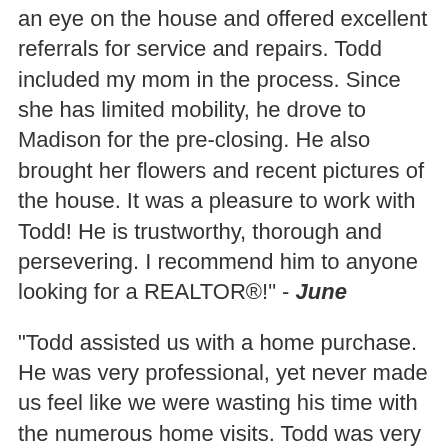an eye on the house and offered excellent referrals for service and repairs. Todd included my mom in the process. Since she has limited mobility, he drove to Madison for the pre-closing. He also brought her flowers and recent pictures of the house. It was a pleasure to work with Todd! He is trustworthy, thorough and persevering. I recommend him to anyone looking for a REALTOR®!" - June
"Todd assisted us with a home purchase. He was very professional, yet never made us feel like we were wasting his time with the numerous home visits. Todd was very knowledgeable about the foundations and home systems and had a keen eye for those details and possible problems that are easily overlooked when you, as the buyer, start falling in love with the more aesthetic features of the house. We enjoyed working with Todd and appreciate his assistance through the home buying process." - Greg & Jessica